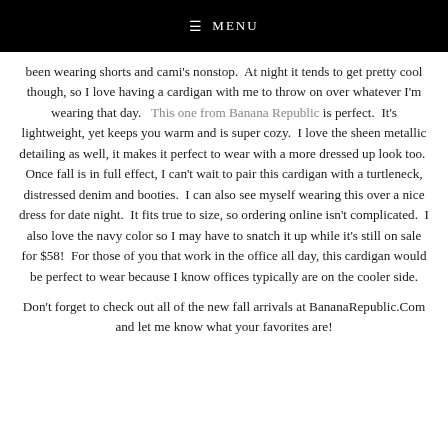≡ MENU
been wearing shorts and cami's nonstop.  At night it tends to get pretty cool though, so I love having a cardigan with me to throw on over whatever I'm wearing that day.   This one from Banana Republic is perfect.  It's lightweight, yet keeps you warm and is super cozy.  I love the sheen metallic detailing as well, it makes it perfect to wear with a more dressed up look too.  Once fall is in full effect, I can't wait to pair this cardigan with a turtleneck, distressed denim and booties.  I can also see myself wearing this over a nice dress for date night.  It fits true to size, so ordering online isn't complicated.  I also love the navy color so I may have to snatch it up while it's still on sale for $58!  For those of you that work in the office all day, this cardigan would be perfect to wear because I know offices typically are on the cooler side.
Don't forget to check out all of the new fall arrivals at BananaRepublic.Com and let me know what your favorites are!